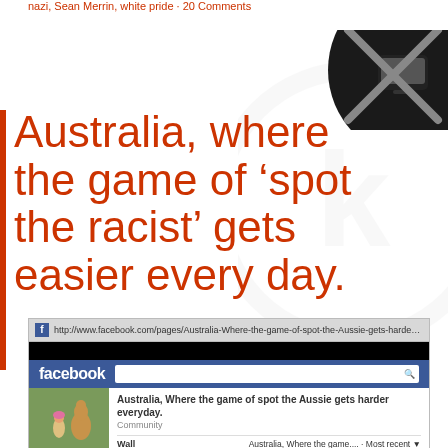nazi, Sean Merrin, white pride · 20 Comments
Australia, where the game of ‘spot the racist’ gets easier every day.
Posted on August 4, 2011
[Figure (screenshot): Screenshot of a Facebook page titled 'Australia, Where the game of spot the Aussie gets harder everyday.' showing the Facebook interface with a meme image thumbnail of a child and a kangaroo, Community category label, Wall section, and Share options.]